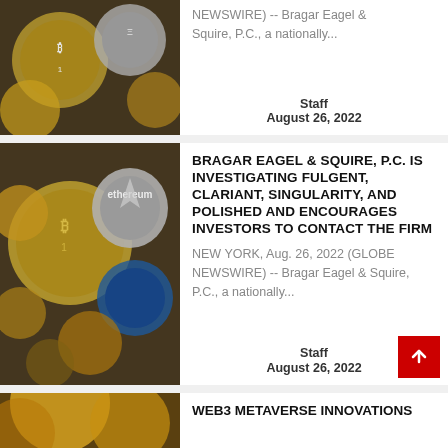[Figure (photo): Partial cryptocurrency coins image cut off at top]
NEWSWIRE) -- Bragar Eagel & Squire, P.C., a nationally...
Staff
August 26, 2022
[Figure (photo): Cryptocurrency coins including ethereum and bitcoin tokens in gold and silver]
BRAGAR EAGEL & SQUIRE, P.C. IS INVESTIGATING FULGENT, CLARIANT, SINGULARITY, AND POLISHED AND ENCOURAGES INVESTORS TO CONTACT THE FIRM
NEW YORK, Aug. 26, 2022 (GLOBE NEWSWIRE) -- Bragar Eagel & Squire, P.C., a nationally...
Staff
August 26, 2022
[Figure (photo): Partial gold cryptocurrency coins image cut off at bottom]
WEB3 METAVERSE INNOVATIONS